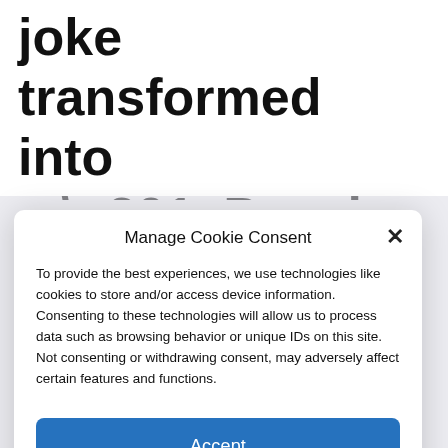Dogecoin, a crypto joke transformed into a “Ponzi pyramid”?
Manage Cookie Consent
To provide the best experiences, we use technologies like cookies to store and/or access device information. Consenting to these technologies will allow us to process data such as browsing behavior or unique IDs on this site. Not consenting or withdrawing consent, may adversely affect certain features and functions.
Accept
Cookie Policy